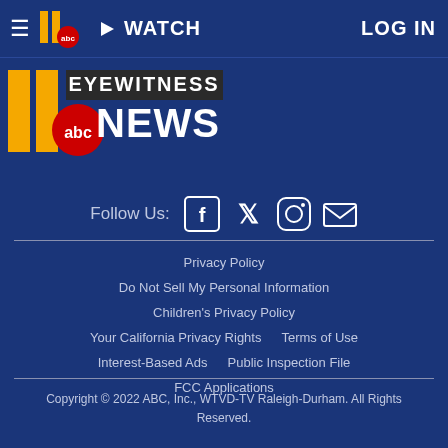[Figure (logo): 11 abc Eyewitness News navigation bar logo (small)]
[Figure (logo): 11 abc Eyewitness News main logo with gold 11, red abc circle, and EYEWITNESS NEWS text]
Follow Us:
[Figure (illustration): Social media icons: Facebook, Twitter, Instagram, Email]
Privacy Policy
Do Not Sell My Personal Information
Children's Privacy Policy
Your California Privacy Rights
Terms of Use
Interest-Based Ads
Public Inspection File
FCC Applications
Copyright © 2022 ABC, Inc., WTVD-TV Raleigh-Durham. All Rights Reserved.